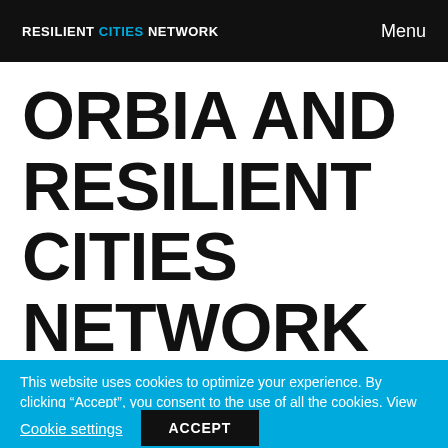RESILIENT CITIES NETWORK   Menu
ORBIA AND RESILIENT CITIES NETWORK PARTNER TO
This website uses cookies to optimize your experience. By clicking “Accept”, you consent to the use of all the cookies. View Privacy Policy
Cookie settings   ACCEPT